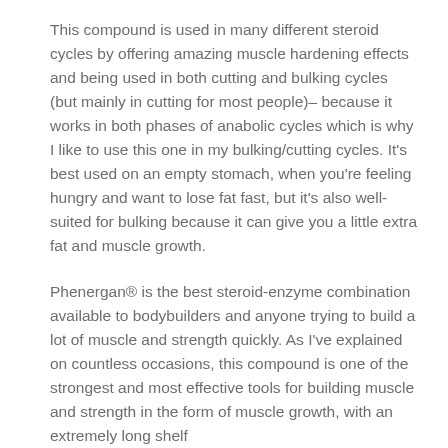This compound is used in many different steroid cycles by offering amazing muscle hardening effects and being used in both cutting and bulking cycles (but mainly in cutting for most people)– because it works in both phases of anabolic cycles which is why I like to use this one in my bulking/cutting cycles. It's best used on an empty stomach, when you're feeling hungry and want to lose fat fast, but it's also well-suited for bulking because it can give you a little extra fat and muscle growth.
Phenergan® is the best steroid-enzyme combination available to bodybuilders and anyone trying to build a lot of muscle and strength quickly. As I've explained on countless occasions, this compound is one of the strongest and most effective tools for building muscle and strength in the form of muscle growth, with an extremely long shelf